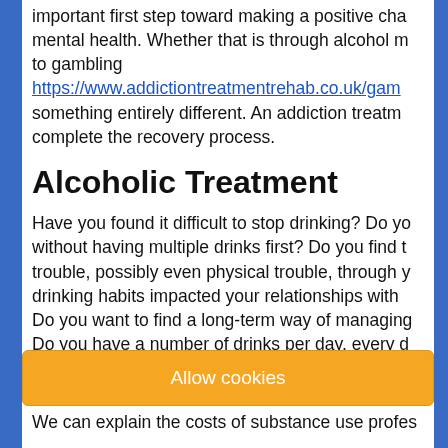important first step toward making a positive change in your mental health. Whether that is through alcohol misuse to gambling https://www.addictiontreatmentrehab.co.uk/gamb something entirely different. An addiction treatment can help complete the recovery process.
https://www.addictiontreatmentrehab.co.uk/gamb
Alcoholic Treatment
Have you found it difficult to stop drinking? Do you find yourself without having multiple drinks first? Do you find it causes trouble, possibly even physical trouble, through your drinking habits impacted your relationships with others? Do you want to find a long-term way of managing? Do you have a number of drinks per day, every day?
If any of this sounds familiar, then it may be time
Allow cookies
We can explain the costs of substance use profes